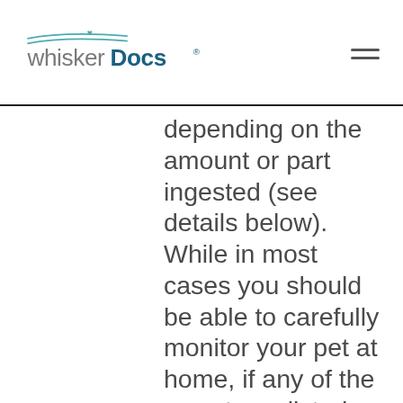whiskerDocs
depending on the amount or part ingested (see details below). While in most cases you should be able to carefully monitor your pet at home, if any of the symptoms listed below appear, if your pet's condition worsens not improves, or if there is any change in your pet's